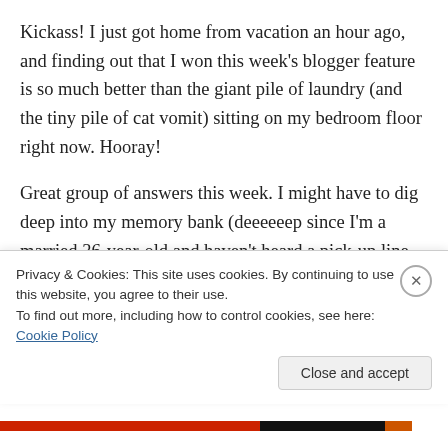Kickass! I just got home from vacation an hour ago, and finding out that I won this week's blogger feature is so much better than the giant pile of laundry (and the tiny pile of cat vomit) sitting on my bedroom floor right now. Hooray!
Great group of answers this week. I might have to dig deep into my memory bank (deeeeeep since I'm a married 36-year-old and haven't heard a pick-up line in a decade) and try to think which of these would be the most offensive.
Privacy & Cookies: This site uses cookies. By continuing to use this website, you agree to their use. To find out more, including how to control cookies, see here: Cookie Policy
Close and accept